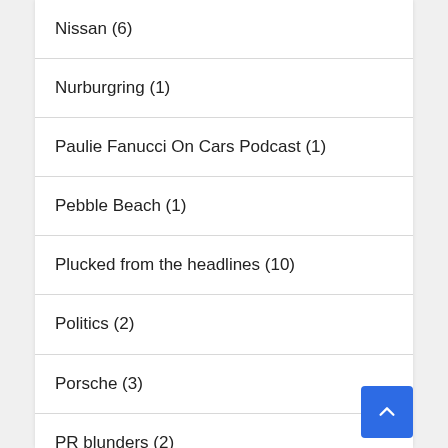Nissan (6)
Nurburgring (1)
Paulie Fanucci On Cars Podcast (1)
Pebble Beach (1)
Plucked from the headlines (10)
Politics (2)
Porsche (3)
PR blunders (2)